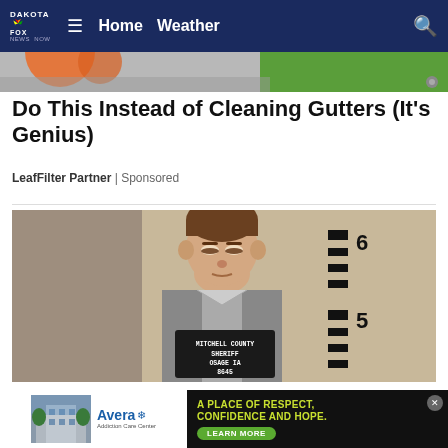DAKOTA Fox NBC News Now | Home Weather
[Figure (photo): Top partial image of orange and green objects (ad/teaser image strip)]
Do This Instead of Cleaning Gutters (It's Genius)
LeafFilter Partner | Sponsored
[Figure (photo): Mugshot photo of a young man in gray inmate uniform holding a Mitchell County Sheriff, Osage IA, 8645 booking sign. Height chart on wall behind him shows markings at 5 and 6 feet.]
[Figure (photo): Bottom advertisement: Avera Addiction Care Center on left with building photo; right side dark background with yellow-green text: A PLACE OF RESPECT, CONFIDENCE AND HOPE. with LEARN MORE green button. Close (x) button on far right.]